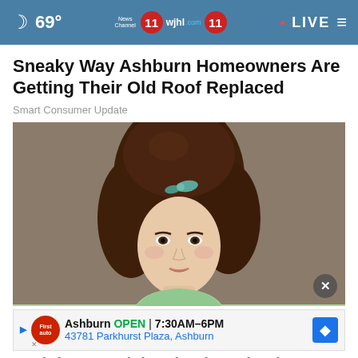69° News Channel 11 wjhl 11 • LIVE
Sneaky Way Ashburn Homeowners Are Getting Their Old Roof Replaced
Smart Consumer Update
[Figure (photo): Portrait photo of a young woman with a tall 1960s-style bouffant updo hairstyle with a blue-green bow, wearing a light green top, looking slightly to the left against a brown background.]
Ashburn OPEN 7:30AM–6PM 43781 Parkhurst Plaza, Ashburn
Look for Any High School Yearbook, It's Free.